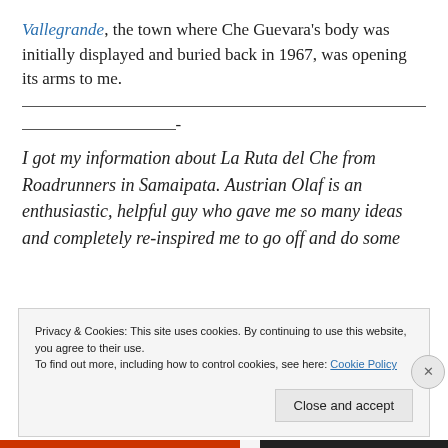Vallegrande, the town where Che Guevara's body was initially displayed and buried back in 1967, was opening its arms to me.
I got my information about La Ruta del Che from Roadrunners in Samaipata. Austrian Olaf is an enthusiastic, helpful guy who gave me so many ideas and completely re-inspired me to go off and do some
Privacy & Cookies: This site uses cookies. By continuing to use this website, you agree to their use.
To find out more, including how to control cookies, see here: Cookie Policy
Close and accept